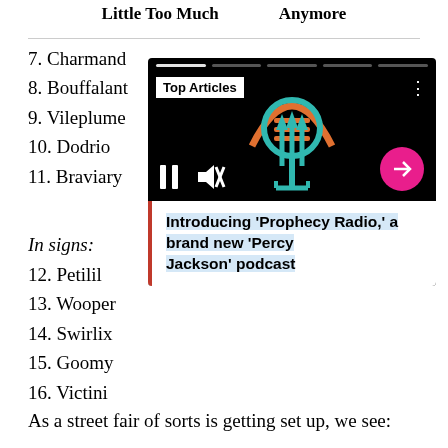Little Too Much    Anymore
7. Charmand[er]
8. Bouffalant
9. Vileplume
10. Dodrio
11. Braviary
In signs:
12. Petilil
13. Wooper
14. Swirlix
15. Goomy
16. Victini
[Figure (screenshot): Embedded video/article card with black background showing a podcast logo (trident/microphone graphic in orange and teal), Top Articles badge, playback controls (pause and mute), a pink arrow button, and a headline reading: Introducing 'Prophecy Radio,' a brand new 'Percy Jackson' podcast]
As a street fair of sorts is getting set up, we see: